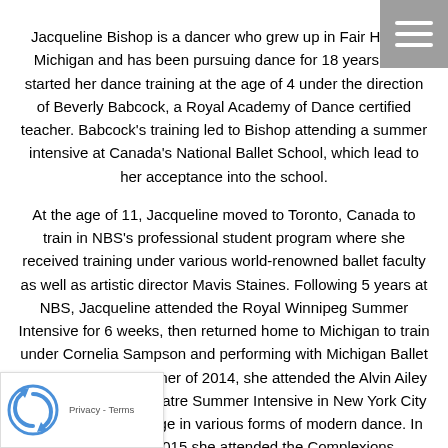Jacqueline Bishop is a dancer who grew up in Fair Haven, Michigan and has been pursuing dance for 18 years. She started her dance training at the age of 4 under the direction of Beverly Babcock, a Royal Academy of Dance certified teacher. Babcock's training led to Bishop attending a summer intensive at Canada's National Ballet School, which lead to her acceptance into the school. At the age of 11, Jacqueline moved to Toronto, Canada to train in NBS's professional student program where she received training under various world-renowned ballet faculty as well as artistic director Mavis Staines. Following 5 years at NBS, Jacqueline attended the Royal Winnipeg Summer Intensive for 6 weeks, then returned home to Michigan to train under Cornelia Sampson and performing with Michigan Ballet Theatre. In the summer of 2014, she attended the Alvin Ailey American Dance Theatre Summer Intensive in New York City and gained knowledge in various forms of modern dance. In the summer of 2015 she attended the Complexions Contemporary Ballet Detroit Summer Intensive under the direction of Dwight Rhoden and Desmond Richardson.Jacqueline attended Grand Valley State University where she studied dance. Under the training of professors Carrie Breuck Morris, Hannah Seidel, and Samantha Shelton,